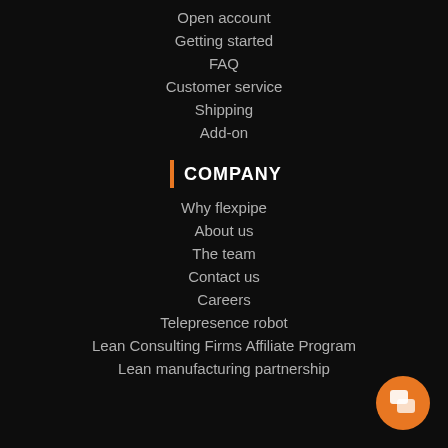Open account
Getting started
FAQ
Customer service
Shipping
Add-on
COMPANY
Why flexpipe
About us
The team
Contact us
Careers
Telepresence robot
Lean Consulting Firms Affiliate Program
Lean manufacturing partnership
[Figure (illustration): Orange circular chat button icon in the bottom-right corner]